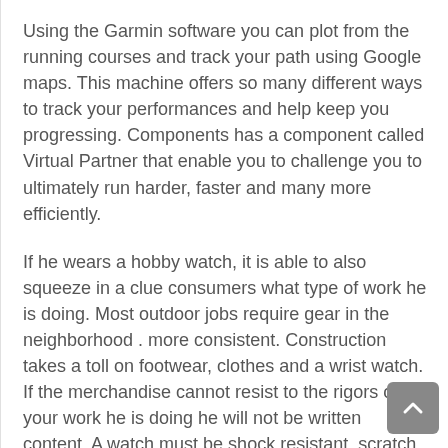Using the Garmin software you can plot from the running courses and track your path using Google maps. This machine offers so many different ways to track your performances and help keep you progressing. Components has a component called Virtual Partner that enable you to challenge you to ultimately run harder, faster and many more efficiently.
If he wears a hobby watch, it is able to also squeeze in a clue consumers what type of work he is doing. Most outdoor jobs require gear in the neighborhood . more consistent. Construction takes a toll on footwear, clothes and a wrist watch. If the merchandise cannot resist to the rigors of your work he is doing he will not be written content. A watch must be shock resistant, scratch resistant and waterproof. The face must be simple to read in all light weather. Many construction type jobs start early in the morning duplicate one book sun appears. Luminous dials, hands and numbers are